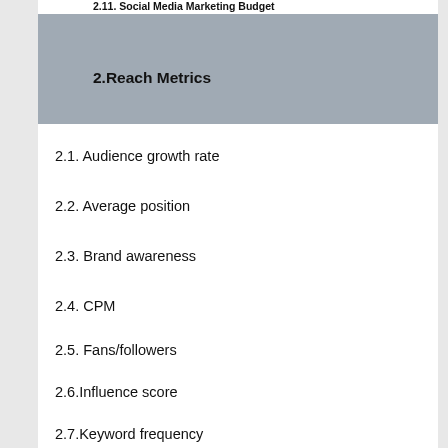2.11. Social Media Marketing Budget
2.Reach Metrics
2.1. Audience growth rate
2.2. Average position
2.3. Brand awareness
2.4. CPM
2.5. Fans/followers
2.6.Influence score
2.7.Keyword frequency
2.8. Post reach
2.9. Potential impressions